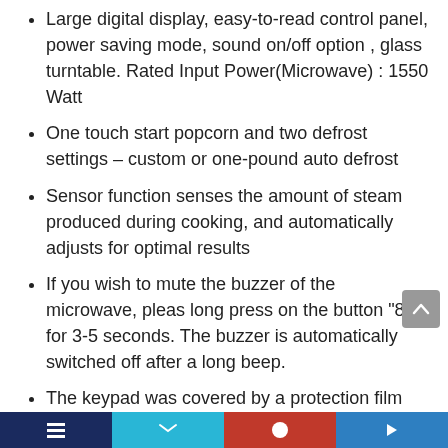Large digital display, easy-to-read control panel, power saving mode, sound on/off option , glass turntable. Rated Input Power(Microwave) : 1550 Watt
One touch start popcorn and two defrost settings – custom or one-pound auto defrost
Sensor function senses the amount of steam produced during cooking, and automatically adjusts for optimal results
If you wish to mute the buzzer of the microwave, pleas long press on the button "8" for 3-5 seconds. The buzzer is automatically switched off after a long beep.
The keypad was covered by a protection film during the shipment. Please peel it off before your first use.